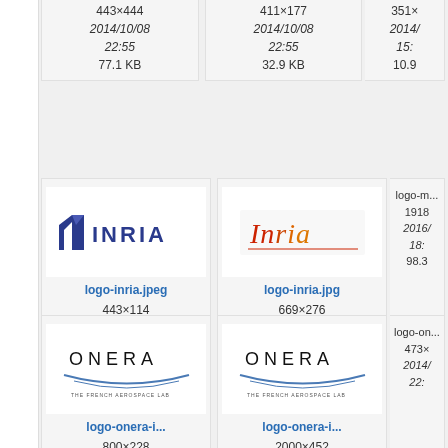443×444
2014/10/08
22:55
77.1 KB
411×177
2014/10/08
22:55
32.9 KB
351×...
2014/...
15:...
10.9...
[Figure (logo): INRIA logo (dark blue geometric mark with INRIA text)]
logo-inria.jpeg
443×114
2014/10/08
22:55
7 KB
[Figure (logo): Inria logo (cursive red/orange script on white background)]
logo-inria.jpg
669×276
2014/11/05
11:09
21.1 KB
logo-m...
1918...
2016/...
18:...
98.3...
[Figure (logo): ONERA logo (black text with blue arc decoration)]
logo-onera-i...
800×228
2014/11/05
11:09
[Figure (logo): ONERA logo (black text with blue arc decoration, larger version)]
logo-onera-i...
2000×452
2014/10/08
22:55
logo-on...
473×...
2014/...
22:...